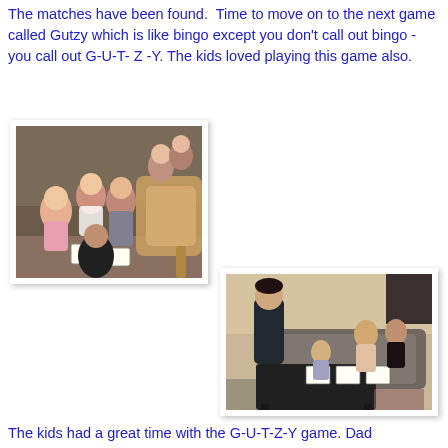The matches have been found.  Time to move on to the next game called Gutzy which is like bingo except you don't call out bingo -  you call out G-U-T- Z -Y. The kids loved playing this game also.
[Figure (photo): Children sitting in a circle on the floor playing a game, holding up cards, with a wooden chair visible in the background.]
[Figure (photo): Children sitting on a couch behind a dark table playing the Gutzy game, with bingo-like cards on the table.]
The kids had a great time with the G-U-T-Z-Y game. Dad